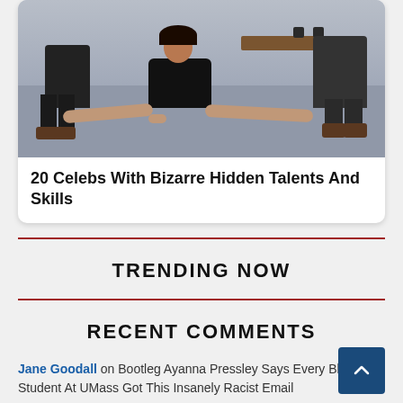[Figure (photo): A woman in a black dress doing a split on a floor, with people sitting in chairs around a coffee table in an office/studio setting.]
20 Celebs With Bizarre Hidden Talents And Skills
TRENDING NOW
RECENT COMMENTS
Jane Goodall on Bootleg Ayanna Pressley Says Every Bl… Student At UMass Got This Insanely Racist Email